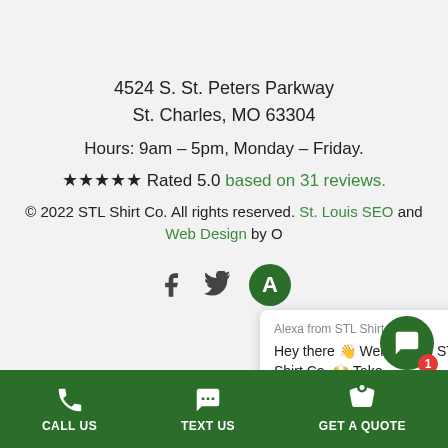4524 S. St. Peters Parkway
St. Charles, MO 63304
Hours: 9am – 5pm, Monday – Friday.
★★★★★ Rated 5.0 based on 31 reviews.
© 2022 STL Shirt Co. All rights reserved. St. Louis SEO and Web Design by O
[Figure (other): Social media icons: Facebook, Twitter, and avatar circle with letter A]
[Figure (other): Chat popup from Alexa at STL Shirt Co. saying: Hey there 👋 Welcome to STL Shirt Co. 🙌 Take]
[Figure (other): Green circular chat button with message icon and red badge showing 1]
CALL US | TEXT US | GET A QUOTE